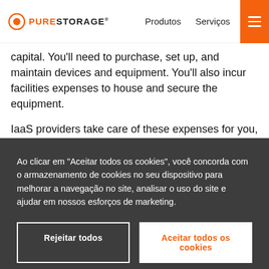PURE STORAGE — Produtos  Serviços
capital. You'll need to purchase, set up, and maintain devices and equipment. You'll also incur facilities expenses to house and secure the equipment.
IaaS providers take care of these expenses for you, so you'll only pay for the resources you consume. It's likely to be a fraction of the cost of setting up an entire network
Ao clicar em “Aceitar todos os cookies”, você concorda com o armazenamento de cookies no seu dispositivo para melhorar a navegação no site, analisar o uso do site e ajudar em nossos esforços de marketing.
Rejeitar todos
Aceitar todos os cookies
Definições de cookies
contato